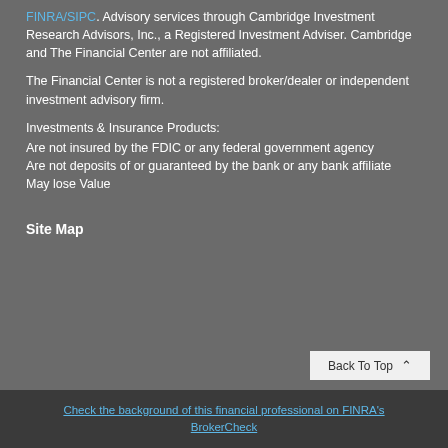FINRA/SIPC. Advisory services through Cambridge Investment Research Advisors, Inc., a Registered Investment Adviser. Cambridge and The Financial Center are not affiliated.
The Financial Center is not a registered broker/dealer or independent investment advisory firm.
Investments & Insurance Products:
Are not insured by the FDIC or any federal government agency
Are not deposits of or guaranteed by the bank or any bank affiliate
May lose Value
Site Map
Check the background of this financial professional on FINRA's BrokerCheck